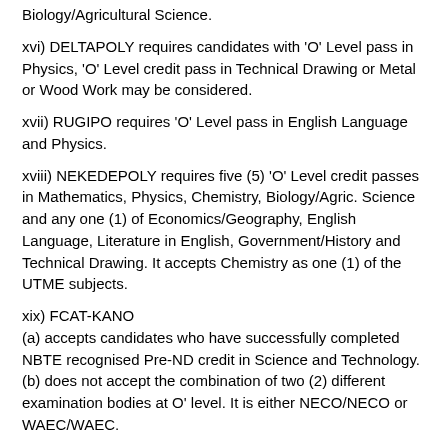Biology/Agricultural Science.
xvi) DELTAPOLY requires candidates with 'O' Level pass in Physics, 'O' Level credit pass in Technical Drawing or Metal or Wood Work may be considered.
xvii) RUGIPO requires 'O' Level pass in English Language and Physics.
xviii) NEKEDEPOLY requires five (5) 'O' Level credit passes in Mathematics, Physics, Chemistry, Biology/Agric. Science and any one (1) of Economics/Geography, English Language, Literature in English, Government/History and Technical Drawing. It accepts Chemistry as one (1) of the UTME subjects.
xix) FCAT-KANO
(a) accepts candidates who have successfully completed NBTE recognised Pre-ND credit in Science and Technology.
(b) does not accept the combination of two (2) different examination bodies at O' level. It is either NECO/NECO or WAEC/WAEC.
xx) SAROWIWA POLY accepts any three (3) of Mathematics,